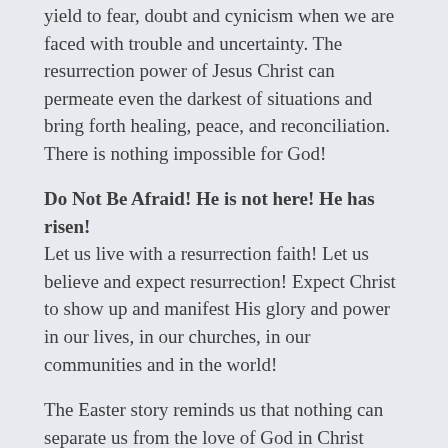yield to fear, doubt and cynicism when we are faced with trouble and uncertainty. The resurrection power of Jesus Christ can permeate even the darkest of situations and bring forth healing, peace, and reconciliation. There is nothing impossible for God!
Do Not Be Afraid! He is not here! He has risen!
Let us live with a resurrection faith! Let us believe and expect resurrection! Expect Christ to show up and manifest His glory and power in our lives, in our churches, in our communities and in the world!
The Easter story reminds us that nothing can separate us from the love of God in Christ Jesus. We are more than conquerors through Jesus Christ who is our healer, our hope, and our salvation. Therefore, let us live with a resurrection faith! Let us believe and expect resurrection